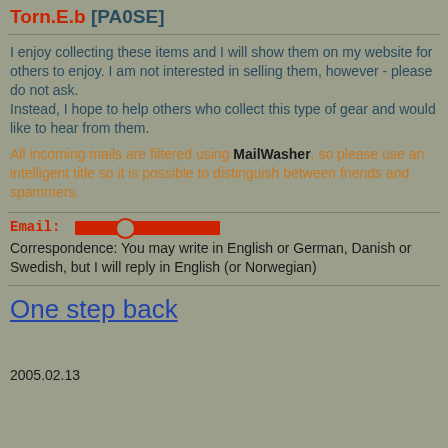Torn.E.b [PA0SE]
I enjoy collecting these items and I will show them on my website for others to enjoy. I am not interested in selling them, however - please do not ask.
Instead, I hope to help others who collect this type of gear and would like to hear from them.
All incoming mails are filtered using MailWasher, so please use an intelligent title so it is possible to distinguish between friends and spammers.
Email: [redacted]
Correspondence: You may write in English or German, Danish or Swedish, but I will reply in English (or Norwegian)
One step back
2005.02.13